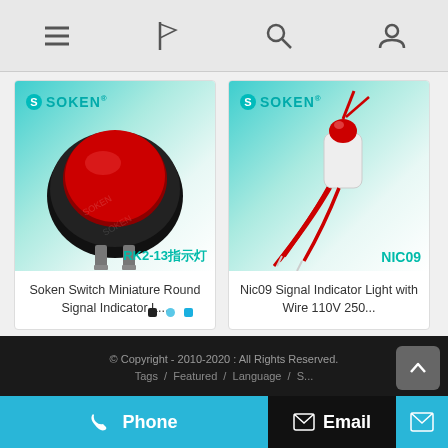[Figure (screenshot): Mobile app navigation bar with menu, flag, search, and account icons]
[Figure (photo): Soken Switch Miniature Round Signal Indicator Light product image with text RK2-13指示灯]
Soken Switch Miniature Round Signal Indicator L...
[Figure (photo): Nic09 Signal Indicator Light with Wire 110V product image labeled NIC09]
Nic09 Signal Indicator Light with Wire 110V 250...
[Figure (infographic): Pagination dots: three dots (dark, light blue, blue)]
© Copyright - 2010-2020 : All Rights Reserved.
Tags / Featured / Language / S...
Phone
Email